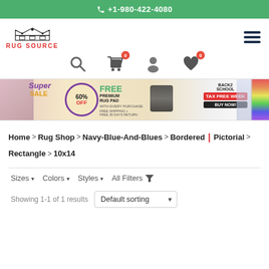+1-980-422-4080
[Figure (logo): Rug Source logo with crown graphic and red text]
[Figure (infographic): Super Sale banner: 60% OFF, FREE Premium Rug Pad with every purchase, Back2School Tax Free Week, Buy Now]
Home > Rug Shop > Navy-Blue-And-Blues > Bordered | Pictorial > Rectangle > 10x14
Sizes ▾  Colors ▾  Styles ▾  All Filters
Showing 1-1 of 1 results   Default sorting